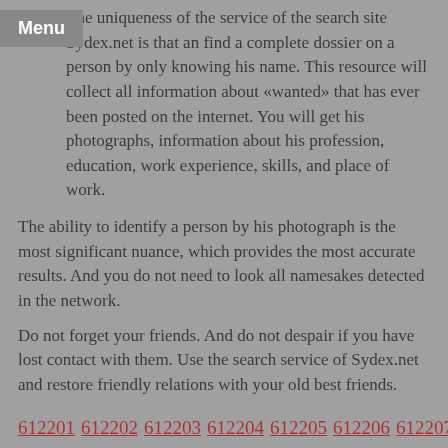Menu
The uniqueness of the service of the search site Sydex.net is that an find a complete dossier on a person by only knowing his name. This resource will collect all information about «wanted» that has ever been posted on the internet. You will get his photographs, information about his profession, education, work experience, skills, and place of work.
The ability to identify a person by his photograph is the most significant nuance, which provides the most accurate results. And you do not need to look all namesakes detected in the network.
Do not forget your friends. And do not despair if you have lost contact with them. Use the search service of Sydex.net and restore friendly relations with your old best friends.
612201 612202 612203 612204 612205 612206 612207 612208 612209 612210 612211 612212 612213 612214 612215 612216 612217 612218 612219 612220 612221 612222 612223 612224